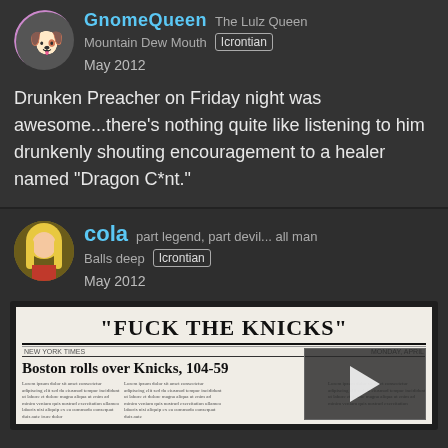GnomeQueen — The Lulz Queen
Mountain Dew Mouth | Icrontian
May 2012
Drunken Preacher on Friday night was awesome...there's nothing quite like listening to him drunkenly shouting encouragement to a healer named "Dragon C*nt."
cola — part legend, part devil... all man
Balls deep | Icrontian
May 2012
[Figure (screenshot): Newspaper clipping showing headline "FUCK THE KNICKS" with subheadline "Boston rolls over Knicks 104-59", with a video player overlay thumbnail]